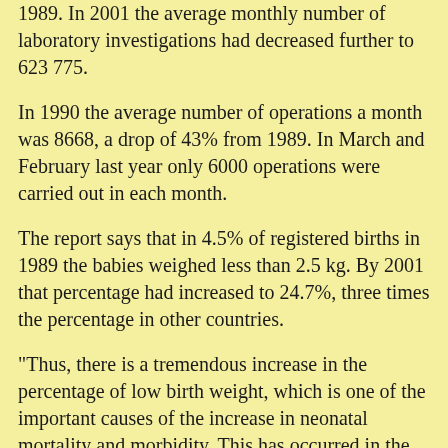1989. In 2001 the average monthly number of laboratory investigations had decreased further to 623 775.
In 1990 the average number of operations a month was 8668, a drop of 43% from 1989. In March and February last year only 6000 operations were carried out in each month.
The report says that in 4.5% of registered births in 1989 the babies weighed less than 2.5 kg. By 2001 that percentage had increased to 24.7%, three times the percentage in other countries.
"Thus, there is a tremendous increase in the percentage of low birth weight, which is one of the important causes of the increase in neonatal mortality and morbidity. This has occurred in the last 10 years after the Gulf conflict and sanctions when much was destroyed (water supply, electricity, buildings, roads, communications, even schools and hospitals)," says the report.
Rosemary Hollis, director of the Middle East programme at the Royal Institute of International Affairs, one of the world’s leading centres for the